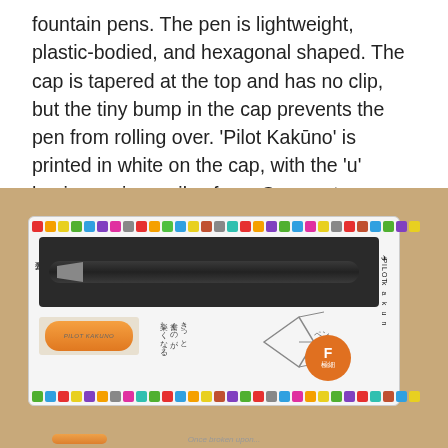fountain pens. The pen is lightweight, plastic-bodied, and hexagonal shaped. The cap is tapered at the top and has no clip, but the tiny bump in the cap prevents the pen from rolling over. 'Pilot Kaküno' is printed in white on the cap, with the 'u' having a nice smiley face. Cap posts securely with no chattering.
[Figure (photo): Photo of a Pilot Kaküno fountain pen in its packaging box. The box has a colorful square dot border along top and bottom edges. Inside the clear-topped box, a dark/black hexagonal pen body is visible in the upper compartment, and an orange cap is in the lower left compartment. Japanese text visible on the box. A nib diagram and 'F' grade orange circle are shown on the right side. 'PILOT kakuno' branding appears vertically on the right edge.]